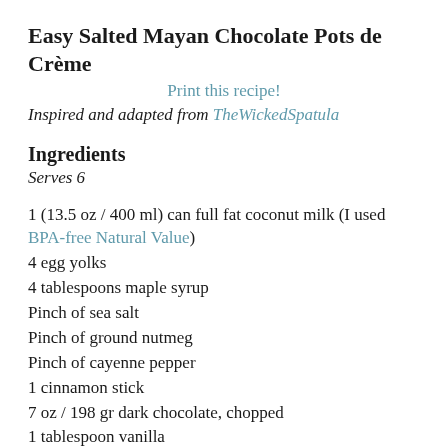Easy Salted Mayan Chocolate Pots de Crème
Print this recipe!
Inspired and adapted from TheWickedSpatula
Ingredients
Serves 6
1 (13.5 oz / 400 ml) can full fat coconut milk (I used BPA-free Natural Value)
4 egg yolks
4 tablespoons maple syrup
Pinch of sea salt
Pinch of ground nutmeg
Pinch of cayenne pepper
1 cinnamon stick
7 oz / 198 gr dark chocolate, chopped
1 tablespoon vanilla